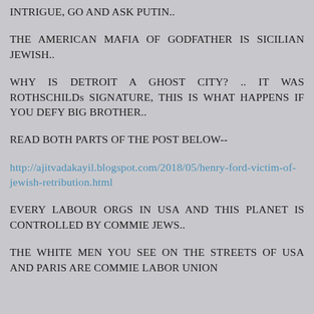INTRIGUE, GO AND ASK PUTIN..
THE AMERICAN MAFIA OF GODFATHER IS SICILIAN JEWISH..
WHY IS DETROIT A GHOST CITY? .. IT WAS ROTHSCHILDs SIGNATURE, THIS IS WHAT HAPPENS IF YOU DEFY BIG BROTHER..
READ BOTH PARTS OF THE POST BELOW--
http://ajitvadakayil.blogspot.com/2018/05/henry-ford-victim-of-jewish-retribution.html
EVERY LABOUR ORGS IN USA AND THIS PLANET IS CONTROLLED BY COMMIE JEWS..
THE WHITE MEN YOU SEE ON THE STREETS OF USA AND PARIS ARE COMMIE LABOR UNION